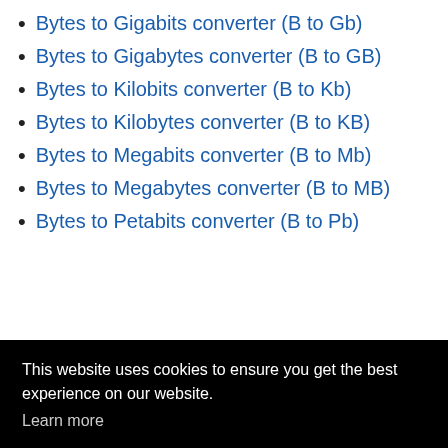Bytes to Gigabits converter (B to Gb)
Bytes to Gigabytes converter (B to GB)
Bytes to Kilobits converter (B to Kb)
Bytes to Kilobytes converter (B to KB)
Bytes to Megabits converter (B to Mb)
Bytes to Megabytes converter (B to MB)
Bytes to Petabits converter (B to Pb)
This website uses cookies to ensure you get the best experience on our website. Learn more